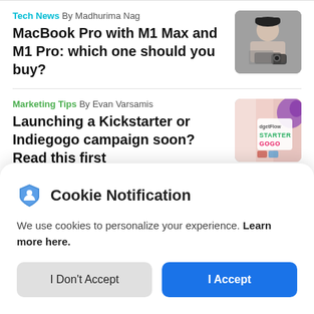Tech News By Madhurima Nag
MacBook Pro with M1 Max and M1 Pro: which one should you buy?
[Figure (photo): Thumbnail photo of a person using a laptop with camera]
Marketing Tips By Evan Varsamis
Launching a Kickstarter or Indiegogo campaign soon? Read this first
[Figure (screenshot): Thumbnail showing dgetFlow STARTER GOGO branding with colorful design]
Cookie Notification
We use cookies to personalize your experience. Learn more here.
I Don't Accept
I Accept